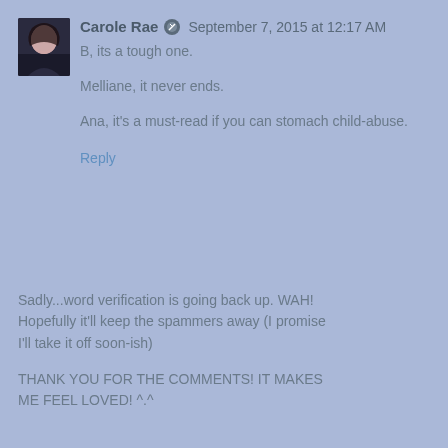[Figure (photo): Small avatar photo of Carole Rae, a young woman with dark hair]
Carole Rae  September 7, 2015 at 12:17 AM
B, its a tough one.

Melliane, it never ends.

Ana, it's a must-read if you can stomach child-abuse.
Reply
Sadly...word verification is going back up. WAH! Hopefully it'll keep the spammers away (I promise I'll take it off soon-ish)

THANK YOU FOR THE COMMENTS! IT MAKES ME FEEL LOVED! ^.^